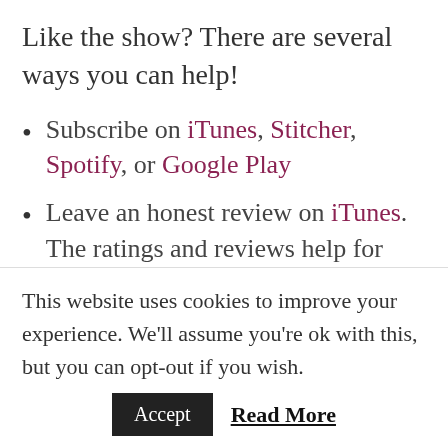Like the show? There are several ways you can help!
Subscribe on iTunes, Stitcher, Spotify, or Google Play
Leave an honest review on iTunes. The ratings and reviews help for two reasons: 1) Most importantly, I get to know you, the listener, and what content you enjoy the most. 2) The more reviews the podcast has, the better chance it
This website uses cookies to improve your experience. We'll assume you're ok with this, but you can opt-out if you wish.
Accept   Read More